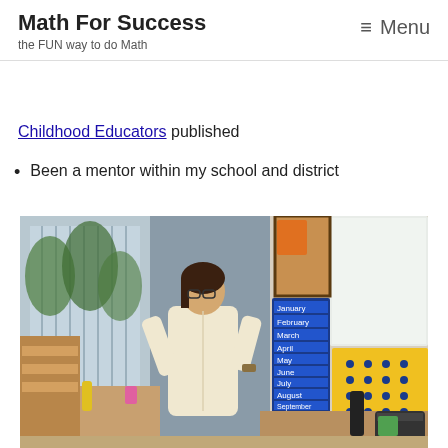Math For Success
the FUN way to do Math
≡ Menu
Childhood Educators published
Been a mentor within my school and district
[Figure (photo): A female teacher standing in a classroom, gesturing with her hands. Behind her is a colorful calendar wall display showing months January through December, and a bright yellow bulletin board with dot patterns. There is a whiteboard to the right and classroom shelving to the left.]